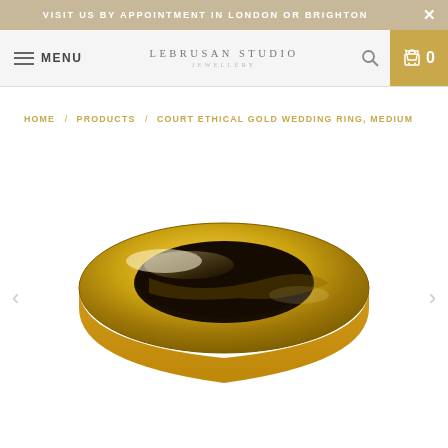VISIT US BY APPOINTMENT IN LONDON OR BRIGHTON
MENU  LEBRUSAN STUDIO JEWELLERY  0
HOME / PRODUCTS / COURT ETHICAL GOLD WEDDING RING, MEDIUM
[Figure (photo): A polished yellow gold court wedding ring band photographed on a white background, viewed from slightly above and at an angle, showing the curved dome profile with reflective gold surface.]